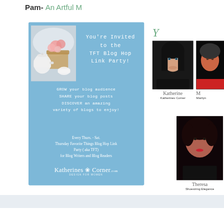Pam- An Artful M
[Figure (infographic): Blue invitation panel for TFT Blog Hop Link Party with tea and flowers photo, invitation text, and Katherines Corner logo]
You're Invited to the TFT Blog Hop Link Party!
GROW your blog audience
SHARE your blog posts
DISCOVER an amazing variety of blogs to enjoy!
Every Thurs. - Sat.
Thursday Favorite Things Blog Hop Link Party ( aka TFT)
for Blog Writers and Blog Readers
[Figure (photo): Portrait photo of Katherine - Katherines Corner host]
Katherines Corner
[Figure (photo): Portrait photo of Marilyn - co-host]
Marilyn
[Figure (photo): Portrait photo of Theresa - Shoestring Elegance host]
Shoestring Elegance